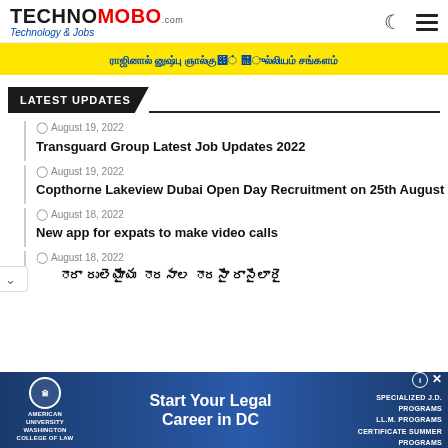TECHNOMOBO Technology & Jobs
[Figure (other): Yellow banner with blue non-Latin script text (Tamil/Malayalam)]
LATEST UPDATES
August 19, 2022
Transguard Group Latest Job Updates 2022
August 19, 2022
Copthorne Lakeview Dubai Open Day Recruitment on 25th August
August 18, 2022
New app for expats to make video calls
August 18, 2022
Non-Latin script headline
[Figure (other): Advertisement banner for American University Washington College of Law - Start Your Legal Career in DC - Specialized J.D. Programs, LL.M. Programs, Certificate Summer Programs]